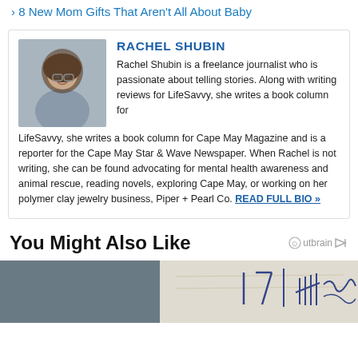› 8 New Mom Gifts That Aren't All About Baby
[Figure (photo): Author bio card for Rachel Shubin with portrait photo on the left and name and bio text on the right. Rachel Shubin is shown as a woman with glasses and brown hair, smiling.]
RACHEL SHUBIN
Rachel Shubin is a freelance journalist who is passionate about telling stories. Along with writing reviews for LifeSavvy, she writes a book column for Cape May Magazine and is a reporter for the Cape May Star & Wave Newspaper. When Rachel is not writing, she can be found advocating for mental health awareness and animal rescue, reading novels, exploring Cape May, or working on her polymer clay jewelry business, Piper + Pearl Co. READ FULL BIO »
You Might Also Like
[Figure (photo): Partial image strip at the bottom showing what appears to be a handwritten document or check with blue ink markings visible.]